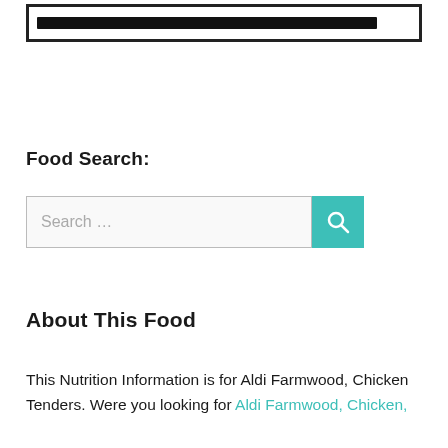[Figure (other): Banner box with a thick black horizontal bar inside a rectangular border]
Food Search:
[Figure (other): Search input field with placeholder text 'Search …' and a teal search button with magnifier icon]
About This Food
This Nutrition Information is for Aldi Farmwood, Chicken Tenders. Were you looking for Aldi Farmwood, Chicken,